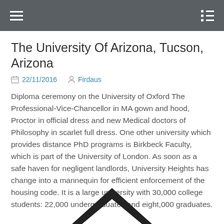≡  ≔
The University Of Arizona, Tucson, Arizona
22/11/2016  Firdaus
Diploma ceremony on the University of Oxford The Professional-Vice-Chancellor in MA gown and hood, Proctor in official dress and new Medical doctors of Philosophy in scarlet full dress. One other university which provides distance PhD programs is Birkbeck Faculty, which is part of the University of London. As soon as a safe haven for negligent landlords, University Heights has change into a mannequin for efficient enforcement of the housing code. It is a large university with 30,000 college students: 22,000 undergraduates and eight,000 graduates.
[Figure (logo): Black chevron/arrow pointing upward, partial view at bottom of page]